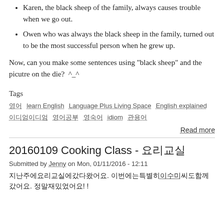Karen, the black sheep of the family, always causes trouble when we go out.
Owen who was always the black sheep in the family, turned out to be the most successful person when he grew up.
Now, can you make some sentences using "black sheep" and the picutre on the die?  ^_^
Tags
영어 · learn English · Language Plus Living Space · English explained · 이디엄이디엄 · 영어공부 · 영숙어 · idiom · 관용어
Read more
20160109 Cooking Class - 요리교실
Submitted by Jenny on Mon, 01/11/2016 - 12:11
지난주에요리교실에갔다왔어요. 이번에는특별히이수미씨도함께갔어요. 정말재밌었어요!